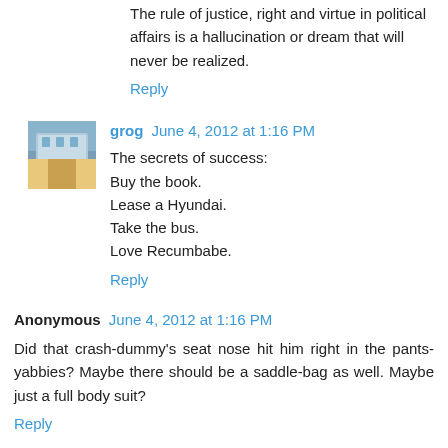The rule of justice, right and virtue in political affairs is a hallucination or dream that will never be realized.
Reply
grog  June 4, 2012 at 1:16 PM
The secrets of success:
Buy the book.
Lease a Hyundai.
Take the bus.
Love Recumbabe.
Reply
Anonymous  June 4, 2012 at 1:16 PM
Did that crash-dummy's seat nose hit him right in the pants-yabbies? Maybe there should be a saddle-bag as well. Maybe just a full body suit?
Reply